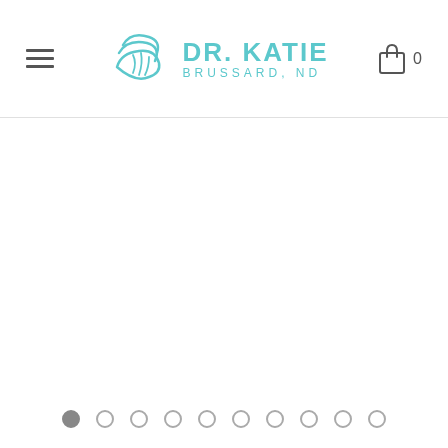DR. KATIE BRUSSARD, ND — navigation header with hamburger menu and cart icon showing 0 items
[Figure (screenshot): Empty white content area below the header — a website slideshow/carousel with no visible slide content loaded]
[Figure (other): Carousel pagination dots — 10 dots total, first dot filled/active (gray), remaining 9 dots outlined only]